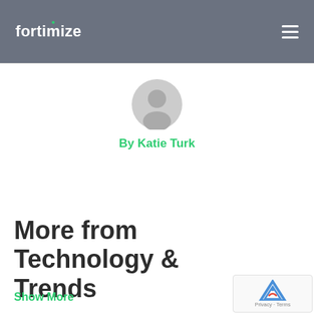fortimize
[Figure (illustration): Generic user avatar circle icon in light gray]
By Katie Turk
More from Technology & Trends
Show More